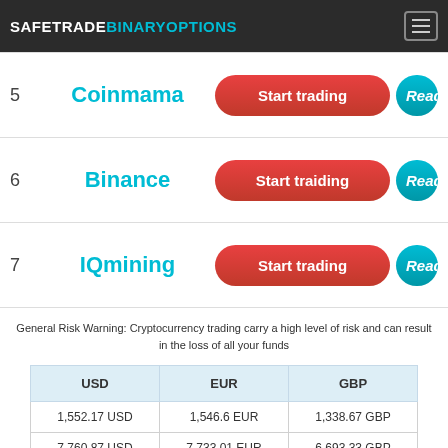SAFETRADEBINARYOPTIONS
5  Coinmama  Start trading  Read
6  Binance  Start traiding  Read
7  IQmining  Start trading  Read
General Risk Warning: Cryptocurrency trading carry a high level of risk and can result in the loss of all your funds
| USD | EUR | GBP |
| --- | --- | --- |
| 1,552.17 USD | 1,546.6 EUR | 1,338.67 GBP |
| 7,760.87 USD | 7,733.01 EUR | 6,693.33 GBP |